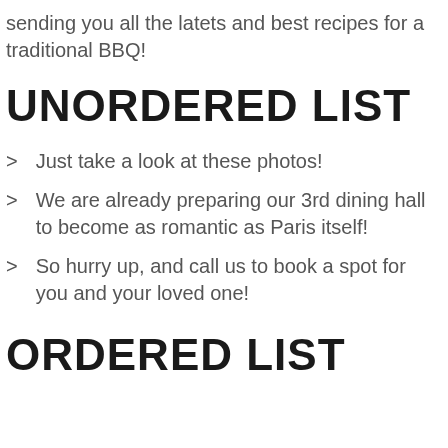sending you all the latets and best recipes for a traditional BBQ!
UNORDERED LIST
Just take a look at these photos!
We are already preparing our 3rd dining hall to become as romantic as Paris itself!
So hurry up, and call us to book a spot for you and your loved one!
ORDERED LIST